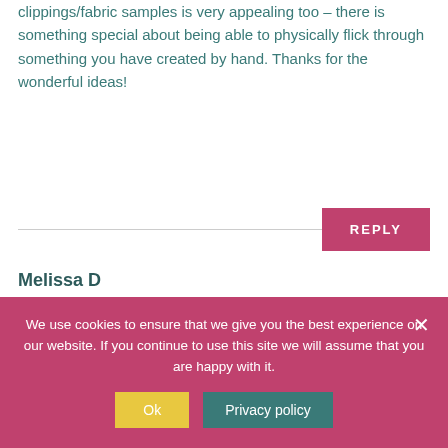clippings/fabric samples is very appealing too – there is something special about being able to physically flick through something you have created by hand. Thanks for the wonderful ideas!
REPLY
Melissa D
on Saturday, September 13, 2014 at 3:36 pm
We use cookies to ensure that we give you the best experience on our website. If you continue to use this site we will assume that you are happy with it.
Ok
Privacy policy